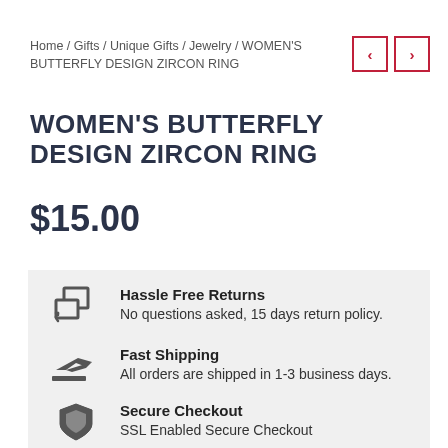Home / Gifts / Unique Gifts / Jewelry / WOMEN'S BUTTERFLY DESIGN ZIRCON RING
WOMEN'S BUTTERFLY DESIGN ZIRCON RING
$15.00
Hassle Free Returns
No questions asked, 15 days return policy.
Fast Shipping
All orders are shipped in 1-3 business days.
Secure Checkout
SSL Enabled Secure Checkout